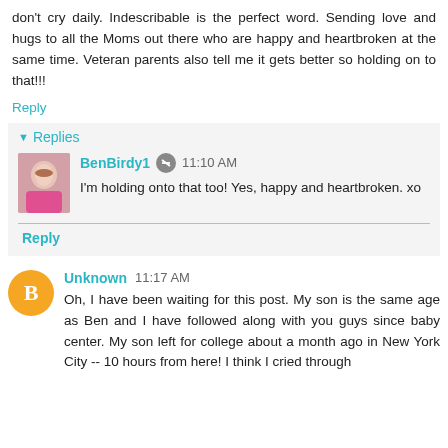don't cry daily. Indescribable is the perfect word. Sending love and hugs to all the Moms out there who are happy and heartbroken at the same time. Veteran parents also tell me it gets better so holding on to that!!!
Reply
Replies
BenBirdy1  11:10 AM
I'm holding onto that too! Yes, happy and heartbroken. xo
Reply
Unknown  11:17 AM
Oh, I have been waiting for this post. My son is the same age as Ben and I have followed along with you guys since baby center. My son left for college about a month ago in New York City -- 10 hours from here! I think I cried through